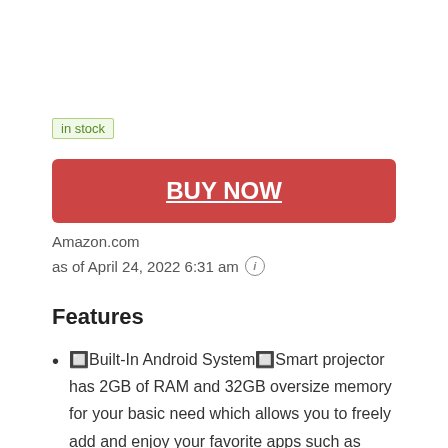in stock
BUY NOW
Amazon.com
as of April 24, 2022 6:31 am
Features
🔲Built-In Android System🔲Smart projector has 2GB of RAM and 32GB oversize memory for your basic need which allows you to freely add and enjoy your favorite apps such as Netflix, HBO, TED and